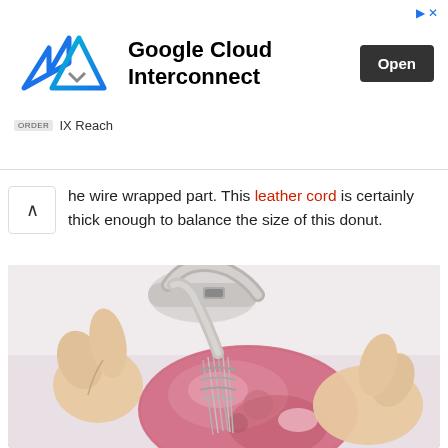[Figure (other): Google Cloud Interconnect advertisement banner with IX Reach logo and Open button]
the wire wrapped part. This leather cord is certainly thick enough to balance the size of this donut.
[Figure (photo): Hands holding a pink/rose donut-shaped stone with wire wrapping and a white cord/clasp being assembled]